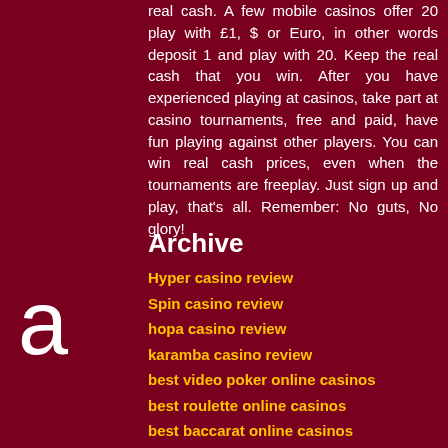real cash. A few mobile casinos offer 20 play with £1, $ or Euro, in other words deposit 1 and play with 20. Keep the real cash that you win. After you have experienced playing at casinos, take part at casino tournaments, free and paid, have fun playing against other players. You can win real cash prices, even when the tournaments are freeplay. Just sign up and play, that's all. Remember: No guts, No glory!
Archive
Hyper casino review
Spin casino review
hopa casino review
karamba casino review
best video poker online casinos
best roulette online casinos
best baccarat online casinos
best blackjack online casinos